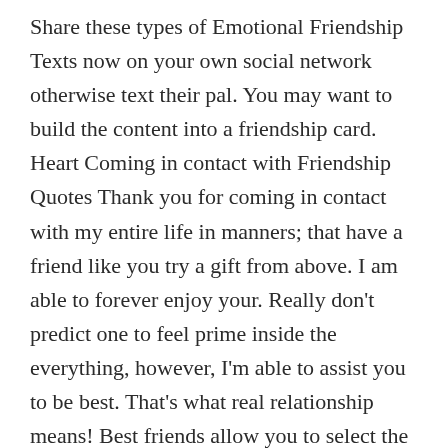Share these types of Emotional Friendship Texts now on your own social network otherwise text their pal. You may want to build the content into a friendship card. Heart Coming in contact with Friendship Quotes Thank you for coming in contact with my entire life in manners; that have a friend like you try a gift from above. I am able to forever enjoy your. Really don't predict one to feel prime inside the everything, however, I'm able to assist you to be best. That's what real relationship means! Best friends allow you to select the essential things in daily life for those who have destroyed them. That is look, promise, and courage. I enjoy a buddy who isn't organized which have one thing. They shall be here to you when you require her or him. Heart Touching Relationship Texts Something that I enjoy in life is that you, in place of you, my entire life could well be when you look at the chaos. I am happy that i don't have to live a single go out instead your business! Your took my fears out and you will could help me with the different aspects of life. I am filled each day...